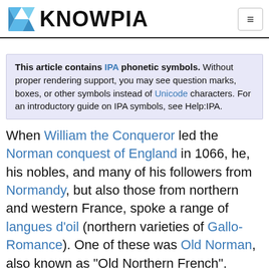KNOWPIA
This article contains IPA phonetic symbols. Without proper rendering support, you may see question marks, boxes, or other symbols instead of Unicode characters. For an introductory guide on IPA symbols, see Help:IPA.
When William the Conqueror led the Norman conquest of England in 1066, he, his nobles, and many of his followers from Normandy, but also those from northern and western France, spoke a range of langues d'oil (northern varieties of Gallo-Romance). One of these was Old Norman, also known as "Old Northern French". Other followers spoke varieties of the Picard language or western registers of general Old French. This amalgam developed into the insular dialect now known as Anglo-Norman French,